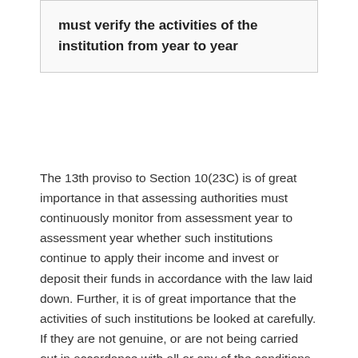must verify the activities of the institution from year to year
The 13th proviso to Section 10(23C) is of great importance in that assessing authorities must continuously monitor from assessment year to assessment year whether such institutions continue to apply their income and invest or deposit their funds in accordance with the law laid down. Further, it is of great importance that the activities of such institutions be looked at carefully. If they are not genuine, or are not being carried out in accordance with all or any of the conditions subject to which approval has been given, such approval and exemption must forthwith be withdrawn. All these cases are disposed of making it clear that revenue is at